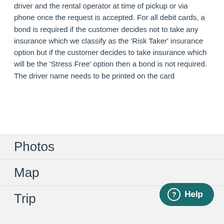driver and the rental operator at time of pickup or via phone once the request is accepted. For all debit cards, a bond is required if the customer decides not to take any insurance which we classify as the 'Risk Taker' insurance option but if the customer decides to take insurance which will be the 'Stress Free' option then a bond is not required.
The driver name needs to be printed on the card
Photos
Map
Trip